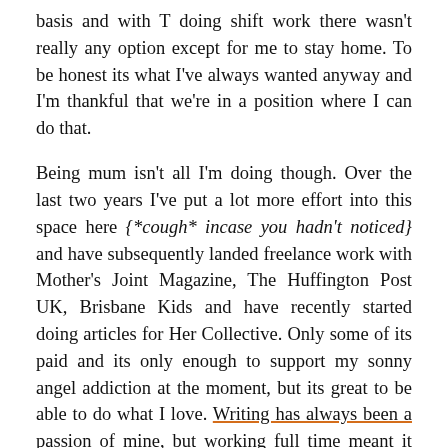basis and with T doing shift work there wasn't really any option except for me to stay home. To be honest its what I've always wanted anyway and I'm thankful that we're in a position where I can do that.
Being mum isn't all I'm doing though. Over the last two years I've put a lot more effort into this space here {*cough* incase you hadn't noticed} and have subsequently landed freelance work with Mother's Joint Magazine, The Huffington Post UK, Brisbane Kids and have recently started doing articles for Her Collective. Only some of its paid and its only enough to support my sonny angel addiction at the moment, but its great to be able to do what I love. Writing has always been a passion of mine, but working full time meant it was always put on the back burner. I feel like maternity leave has finally allowed me to indulge my